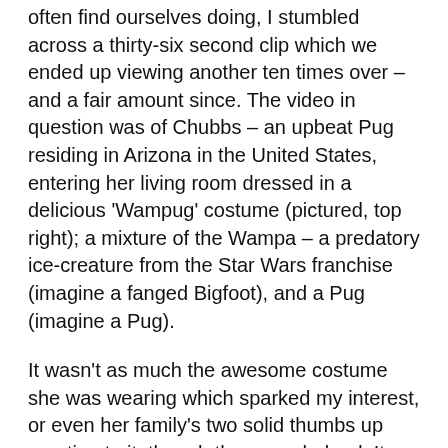often find ourselves doing, I stumbled across a thirty-six second clip which we ended up viewing another ten times over – and a fair amount since. The video in question was of Chubbs – an upbeat Pug residing in Arizona in the United States, entering her living room dressed in a delicious 'Wampug' costume (pictured, top right); a mixture of the Wampa – a predatory ice-creature from the Star Wars franchise (imagine a fanged Bigfoot), and a Pug (imagine a Pug).
It wasn't as much the awesome costume she was wearing which sparked my interest, or even her family's two solid thumbs up reaction to it; though they sure helped. It was more the manner in which Chubbs storms into the video with such immense pride, in showing off her new togs; like Kate Middleton first trying on her royal wedding dress, only a much cooler, hairier version. Chubbs face has such joy in its expression, and she happily shows off every thread of her expertly crafted homemade costume, it is impossible not to allow it to tug at the heart strings. I obviously wasn't alone in this reaction, as the clip - released in October 2011, did indeed become one of those wonderful, organic viral internet